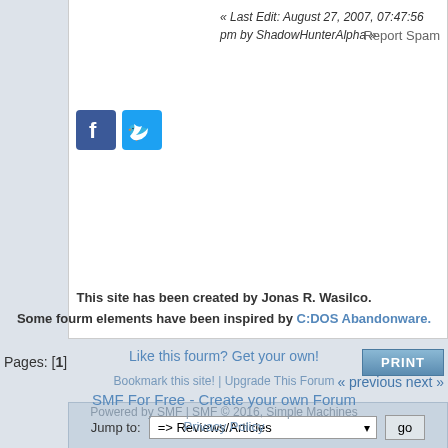« Last Edit: August 27, 2007, 07:47:56 pm by ShadowHunterAlpha »
Report Spam
[Figure (logo): Facebook and Twitter social share icons]
Pages: [1]
PRINT
« previous next »
Jump to: => Reviews/Articles  go
This site has been created by Jonas R. Wasilco. Some fourm elements have been inspired by C:DOS Abandonware.
Like this fourm? Get your own!
Bookmark this site! | Upgrade This Forum
SMF For Free - Create your own Forum
Powered by SMF | SMF © 2016, Simple Machines Privacy Policy